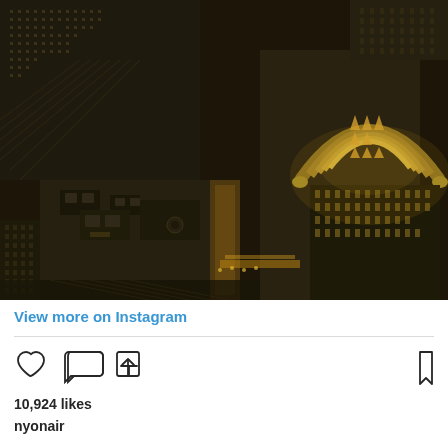[Figure (photo): Aerial nighttime photograph of New York City skyscrapers including the illuminated Chrysler Building, viewed from above showing rooftops and street patterns]
View more on Instagram
10,924 likes
nyonair